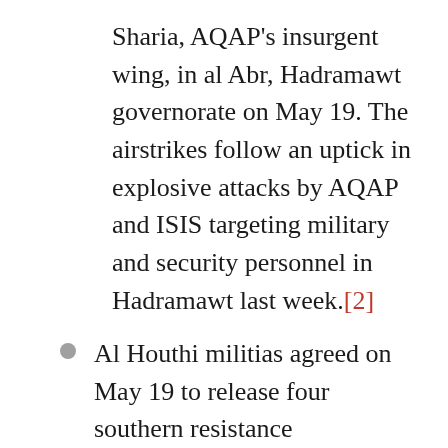Sharia, AQAP's insurgent wing, in al Abr, Hadramawt governorate on May 19. The airstrikes follow an uptick in explosive attacks by AQAP and ISIS targeting military and security personnel in Hadramawt last week.[2]
Al Houthi militias agreed on May 19 to release four southern resistance